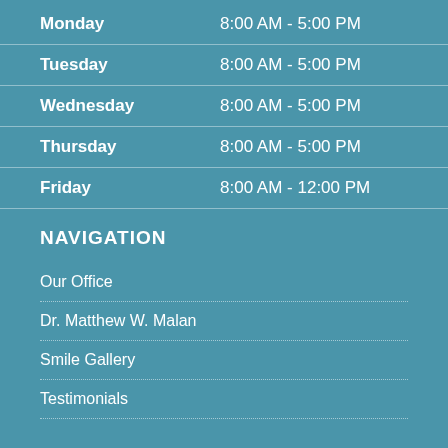| Day | Hours |
| --- | --- |
| Monday | 8:00 AM - 5:00 PM |
| Tuesday | 8:00 AM - 5:00 PM |
| Wednesday | 8:00 AM - 5:00 PM |
| Thursday | 8:00 AM - 5:00 PM |
| Friday | 8:00 AM - 12:00 PM |
NAVIGATION
Our Office
Dr. Matthew W. Malan
Smile Gallery
Testimonials